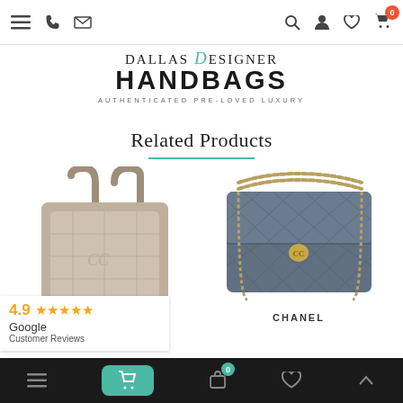Navigation bar with menu, phone, email icons and search, user, heart, cart icons. Cart badge: 0
[Figure (logo): Dallas Designer Handbags logo with teal script D, bold HANDBAGS text, and tagline AUTHENTICATED PRE-LOVED LUXURY]
Related Products
[Figure (photo): Beige/taupe Chanel New Travel Line quilted canvas tote bag with leather handles]
[Figure (photo): Dark grey Chanel classic flap bag with gold chain strap and CC turn-lock closure]
CHANEL
4.9 ★★★★★ Google Customer Reviews
Bottom navigation: menu, cart (active/teal, badge 0), shopping bag, heart, up arrow